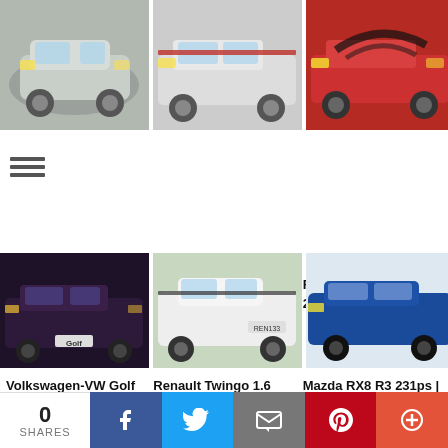[Figure (photo): Silver Vauxhall-Opel Corsa hatchback, front 3/4 view, outdoor setting]
[Figure (photo): White Ford Mustang Indianapolis 500 Pace Car Replica with racing graphics, side view]
[Figure (photo): Red Ford Mustang Cobra with black hood graphics, front 3/4 view]
Vauxhall-Opel Corsa 1.8 Sport SRi | 2001
Ford Mustang Indianapolis 500 Pace Car Replica Turbo | 1979
Ford Mustang Cobra 2.3 V6 Turbo | 1979
[Figure (photo): Dark Volkswagen Golf GTi, front 3/4 view, nighttime or dark lighting]
[Figure (photo): White Renault Twingo RS on road, front 3/4 view]
[Figure (photo): Blue Mazda RX8 R3, side profile view]
Volkswagen-VW Golf 2.0 GTi 16V | 1994
Renault Twingo 1.6 133 Renaultsport Cup | 2011
Mazda RX8 R3 231ps | 2008